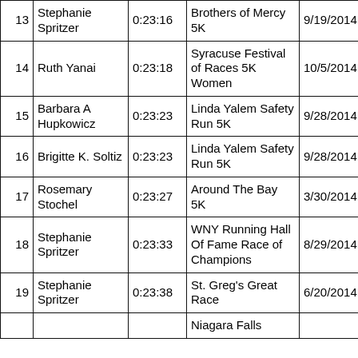| # | Name | Time | Race | Date | Overall | AG |
| --- | --- | --- | --- | --- | --- | --- |
| 13 | Stephanie Spritzer | 0:23:16 | Brothers of Mercy 5K | 9/19/2014 | 42 | 10 |
| 14 | Ruth Yanai | 0:23:18 | Syracuse Festival of Races 5K Women | 10/5/2014 | 65 | 65 |
| 15 | Barbara A Hupkowicz | 0:23:23 | Linda Yalem Safety Run 5K | 9/28/2014 | 133 | 26 |
| 16 | Brigitte K. Soltiz | 0:23:23 | Linda Yalem Safety Run 5K | 9/28/2014 | 132 | 25 |
| 17 | Rosemary Stochel | 0:23:27 | Around The Bay 5K | 3/30/2014 | 128 | 25 |
| 18 | Stephanie Spritzer | 0:23:33 | WNY Running Hall Of Fame Race of Champions | 8/29/2014 | 130 | 40 |
| 19 | Stephanie Spritzer | 0:23:38 | St. Greg's Great Race | 6/20/2014 | 186 | 32 |
|  |  |  | Niagara Falls… |  |  |  |